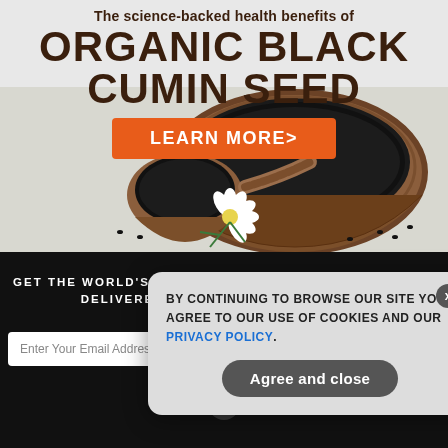The science-backed health benefits of
ORGANIC BLACK CUMIN SEED
[Figure (photo): Wooden bowl and spoon filled with black cumin seeds on a light background with a small white flower]
LEARN MORE>
GET THE WORLD'S BEST NATURAL HEALTH NEWSLETTER DELIVERED STRAIGHT TO YOUR INBOX
Enter Your Email Address
SUBSCRIBE
BY CONTINUING TO BROWSE OUR SITE YOU AGREE TO OUR USE OF COOKIES AND OUR PRIVACY POLICY.
Agree and close